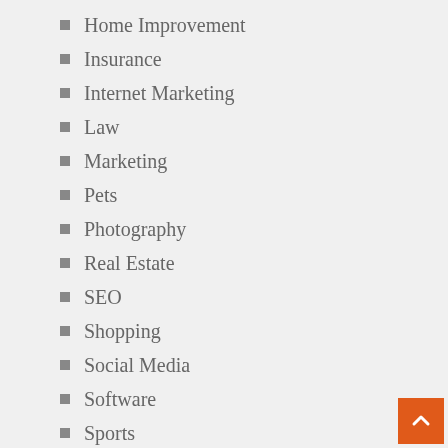Home Improvement
Insurance
Internet Marketing
Law
Marketing
Pets
Photography
Real Estate
SEO
Shopping
Social Media
Software
Sports
Technology
Travel
Uncategorized
Web Design